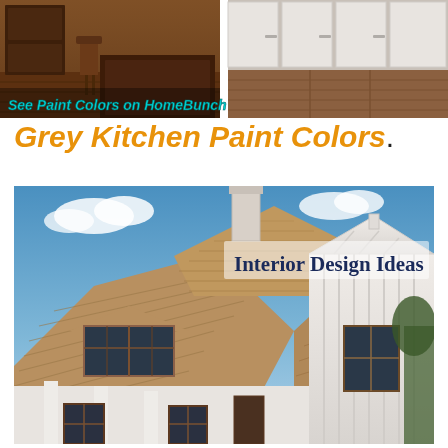[Figure (photo): Two kitchen photos side by side: left shows dark wood kitchen island/cabinet, right shows white kitchen cabinetry with wood flooring]
See Paint Colors on HomeBunch
Grey Kitchen Paint Colors.
[Figure (photo): Exterior photo of a modern farmhouse with cedar shake roof, white board-and-batten siding, dormer window, chimney, and blue sky background. Overlaid text: Interior Design Ideas]